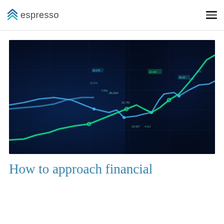espresso
[Figure (photo): Dark blue background financial trading chart with glowing green and blue line graphs showing market data with numerical annotations]
How to approach financial